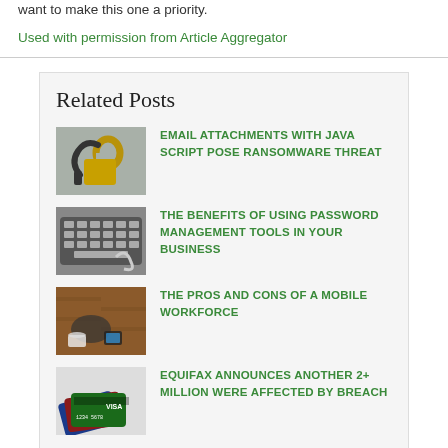want to make this one a priority.
Used with permission from Article Aggregator
Related Posts
EMAIL ATTACHMENTS WITH JAVA SCRIPT POSE RANSOMWARE THREAT
THE BENEFITS OF USING PASSWORD MANAGEMENT TOOLS IN YOUR BUSINESS
THE PROS AND CONS OF A MOBILE WORKFORCE
EQUIFAX ANNOUNCES ANOTHER 2+ MILLION WERE AFFECTED BY BREACH